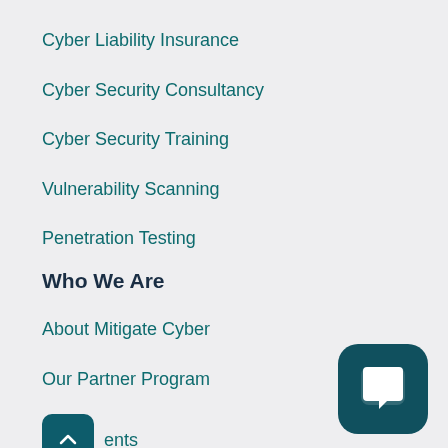Cyber Liability Insurance
Cyber Security Consultancy
Cyber Security Training
Vulnerability Scanning
Penetration Testing
Who We Are
About Mitigate Cyber
Our Partner Program
ents
News/Press